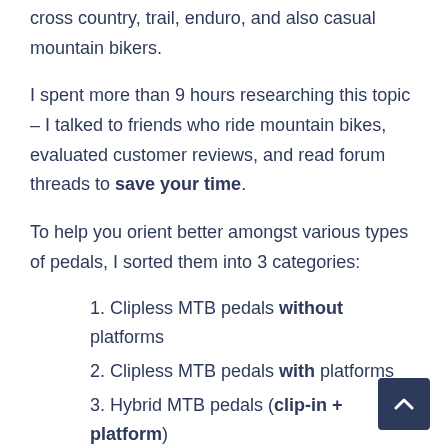cross country, trail, enduro, and also casual mountain bikers.
I spent more than 9 hours researching this topic – I talked to friends who ride mountain bikes, evaluated customer reviews, and read forum threads to save your time.
To help you orient better amongst various types of pedals, I sorted them into 3 categories:
1. Clipless MTB pedals without platforms
2. Clipless MTB pedals with platforms
3. Hybrid MTB pedals (clip-in + platform)